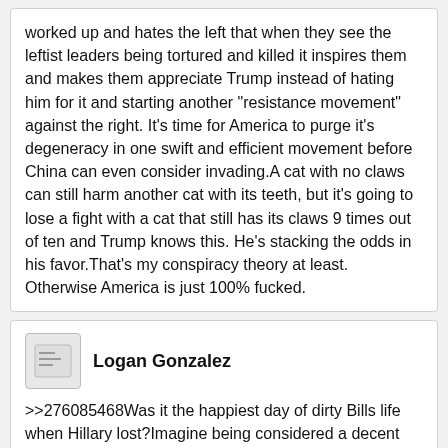worked up and hates the left that when they see the leftist leaders being tortured and killed it inspires them and makes them appreciate Trump instead of hating him for it and starting another "resistance movement" against the right. It's time for America to purge it's degeneracy in one swift and efficient movement before China can even consider invading.A cat with no claws can still harm another cat with its teeth, but it's going to lose a fight with a cat that still has its claws 9 times out of ten and Trump knows this. He's stacking the odds in his favor.That's my conspiracy theory at least. Otherwise America is just 100% fucked.
Logan Gonzalez
>>276085468Was it the happiest day of dirty Bills life when Hillary lost?Imagine being considered a decent president the having your beard harpy wife who cuckolded you drag you through the mud.Holy shit.
Christopher Price